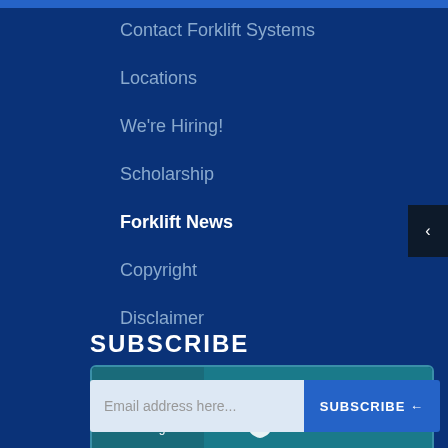Contact Forklift Systems
Locations
We're Hiring!
Scholarship
Forklift News
Copyright
Disclaimer
[Figure (logo): BBB Accredited Business badge with A+ Rating]
SUBSCRIBE
Email address here...  SUBSCRIBE →